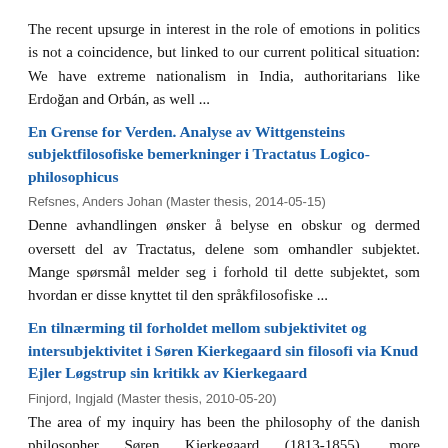The recent upsurge in interest in the role of emotions in politics is not a coincidence, but linked to our current political situation: We have extreme nationalism in India, authoritarians like Erdoğan and Orbán, as well ...
En Grense for Verden. Analyse av Wittgensteins subjektfilosofiske bemerkninger i Tractatus Logico-philosophicus
Refsnes, Anders Johan (Master thesis, 2014-05-15)
Denne avhandlingen ønsker å belyse en obskur og dermed oversett del av Tractatus, delene som omhandler subjektet. Mange spørsmål melder seg i forhold til dette subjektet, som hvordan er disse knyttet til den språkfilosofiske ...
En tilnærming til forholdet mellom subjektivitet og intersubjektivitet i Søren Kierkegaard sin filosofi via Knud Ejler Løgstrup sin kritikk av Kierkegaard
Finjord, Ingjald (Master thesis, 2010-05-20)
The area of my inquiry has been the philosophy of the danish philosopher Søren Kierkegaard (1813-1855), more specifically I have been working with problems related to the